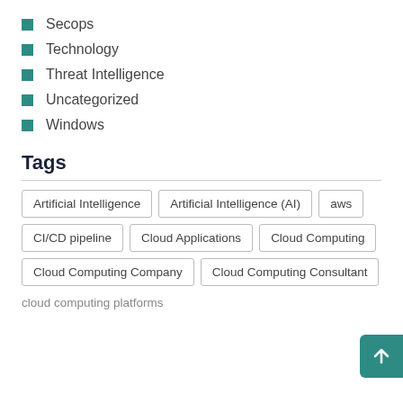Secops
Technology
Threat Intelligence
Uncategorized
Windows
Tags
Artificial Intelligence
Artificial Intelligence (AI)
aws
CI/CD pipeline
Cloud Applications
Cloud Computing
Cloud Computing Company
Cloud Computing Consultant
cloud computing platforms